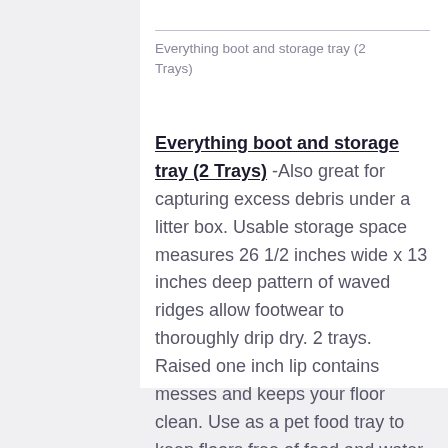Everything boot and storage tray (2 Trays)
Everything boot and storage tray (2 Trays) -Also great for capturing excess debris under a litter box. Usable storage space measures 26 1/2 inches wide x 13 inches deep pattern of waved ridges allow footwear to thoroughly drip dry. 2 trays. Raised one inch lip contains messes and keeps your floor clean. Use as a pet food tray to keep floors free of food and water messes.